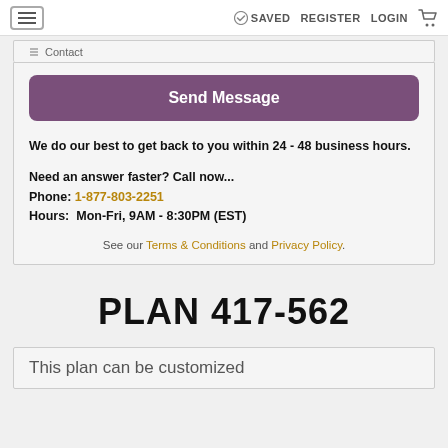SAVED  REGISTER  LOGIN
Send Message
We do our best to get back to you within 24 - 48 business hours.

Need an answer faster? Call now...
Phone: 1-877-803-2251
Hours:  Mon-Fri, 9AM - 8:30PM (EST)
See our Terms & Conditions and Privacy Policy.
PLAN 417-562
This plan can be customized